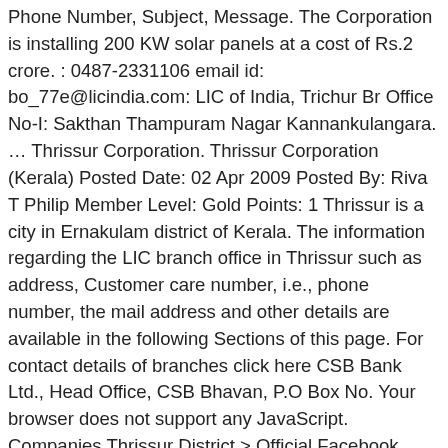Phone Number, Subject, Message. The Corporation is installing 200 KW solar panels at a cost of Rs.2 crore. : 0487-2331106 email id: bo_77e@licindia.com: LIC of India, Trichur Br Office No-I: Sakthan Thampuram Nagar Kannankulangara. … Thrissur Corporation. Thrissur Corporation (Kerala) Posted Date: 02 Apr 2009 Posted By: Riva T Philip Member Level: Gold Points: 1 Thrissur is a city in Ernakulam district of Kerala. The information regarding the LIC branch office in Thrissur such as address, Customer care number, i.e., phone number, the mail address and other details are available in the following Sections of this page. For contact details of branches click here CSB Bank Ltd., Head Office, CSB Bhavan, P.O Box No. Your browser does not support any JavaScript. Companies Thrissur District > Official Facebook handle of Thrissur Corporation. 966 talking about this. Email: branchservice@csb.co.in For ATM related queries and Lost Cards Email : atm@csb.co.in Phone(switch Center) : 0484 - 6451631, 2368032 Thrissur. info)), also known by its former name Thrissivaperur, is a city and the headquarters of the Thrissur district in Kerala, India.It is the third largest urban agglomeration in Kerala after